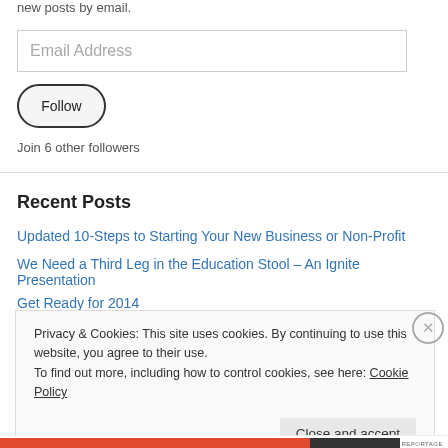new posts by email.
Email Address
Follow
Join 6 other followers
Recent Posts
Updated 10-Steps to Starting Your New Business or Non-Profit
We Need a Third Leg in the Education Stool – An Ignite Presentation
Get Ready for 2014
Privacy & Cookies: This site uses cookies. By continuing to use this website, you agree to their use.
To find out more, including how to control cookies, see here: Cookie Policy
Close and accept